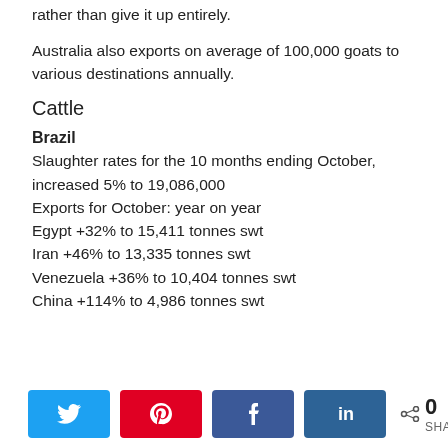rather than give it up entirely.
Australia also exports on average of 100,000 goats to various destinations annually.
Cattle
Brazil
Slaughter rates for the 10 months ending October, increased 5% to 19,086,000
Exports for October: year on year
Egypt +32% to 15,411 tonnes swt
Iran +46% to 13,335 tonnes swt
Venezuela +36% to 10,404 tonnes swt
China +114% to 4,986 tonnes swt
[Figure (infographic): Social sharing bar with Twitter, Pinterest, Facebook, LinkedIn buttons and a share count of 0 SHARES]